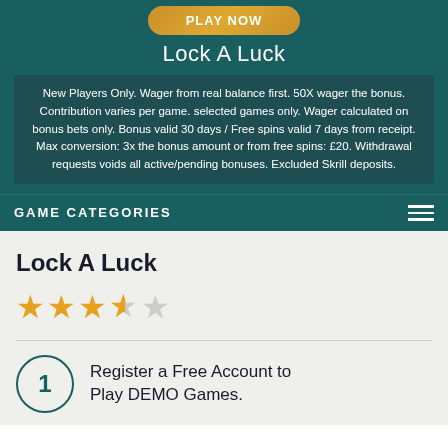[Figure (other): Golden play/demo button at the top of the page]
Lock A Luck
New Players Only. Wager from real balance first. 50X wager the bonus. Contribution varies per game. selected games only. Wager calculated on bonus bets only. Bonus valid 30 days / Free spins valid 7 days from receipt. Max conversion: 3x the bonus amount or from free spins: £20. Withdrawal requests voids all active/pending bonuses. Excluded Skrill deposits.
GAME CATEGORIES
Lock A Luck
[Figure (other): Star rating: 3.5 out of 5 stars (three filled stars, one half star, one empty star)]
Register a Free Account to Play DEMO Games.